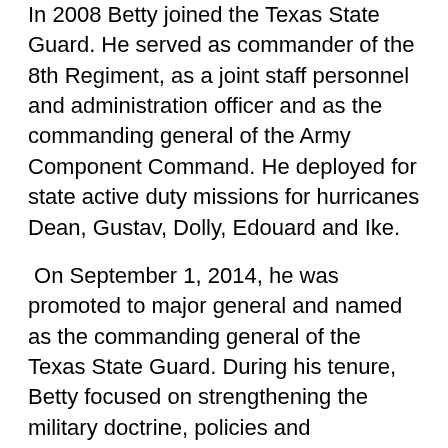In 2008 Betty joined the Texas State Guard. He served as commander of the 8th Regiment, as a joint staff personnel and administration officer and as the commanding general of the Army Component Command.  He deployed for state active duty missions for hurricanes Dean, Gustav, Dolly, Edouard and Ike.
On September 1, 2014, he was promoted to major general and named as the commanding general of the Texas State Guard.  During his tenure, Betty focused on strengthening the military doctrine, policies and procedures, training doctrine implementation and the readiness management system within the Texas State Guard.  He also increased joint training between components and cooperation between the Texas State Guard and the Texas Military Department through joint training events and joint mission deployments.
“Lt. Gen. Betty embodies all the great leadership